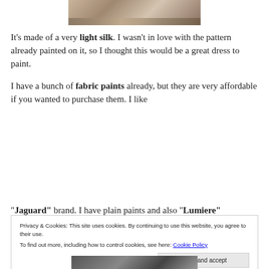[Figure (photo): Partial photo at top of page showing a rug or textile on a floor, cropped at the top]
It’s made of a very light silk. I wasn’t in love with the pattern already painted on it, so I thought this would be a great dress to paint.
I have a bunch of fabric paints already, but they are very affordable if you wanted to purchase them. I like “Jaguard” brand. I have plain paints and also “Lumiere”
Privacy & Cookies: This site uses cookies. By continuing to use this website, you agree to their use.
To find out more, including how to control cookies, see here: Cookie Policy
[Figure (photo): Partial photo at bottom of page, partially visible, showing craft/painting supplies]